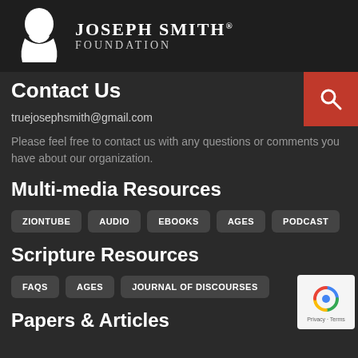[Figure (logo): Joseph Smith Foundation logo with white silhouette profile and serif text reading JOSEPH SMITH® FOUNDATION]
Contact Us
truejosephsmith@gmail.com
Please feel free to contact us with any questions or comments you have about our organization.
Multi-media Resources
ZIONTUBE
AUDIO
EBOOKS
AGES
PODCAST
Scripture Resources
FAQS
AGES
JOURNAL OF DISCOURSES
Papers & Articles